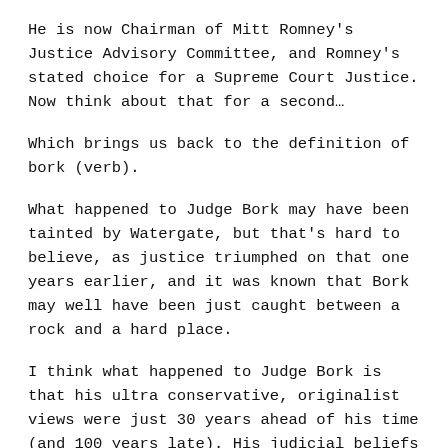He is now Chairman of Mitt Romney's Justice Advisory Committee, and Romney's stated choice for a Supreme Court Justice. Now think about that for a second…
Which brings us back to the definition of bork (verb).
What happened to Judge Bork may have been tainted by Watergate, but that's hard to believe, as justice triumphed on that one years earlier, and it was known that Bork may well have been just caught between a rock and a hard place.
I think what happened to Judge Bork is that his ultra conservative, originalist views were just 30 years ahead of his time (and 100 years late). His judicial beliefs didn't fit into an